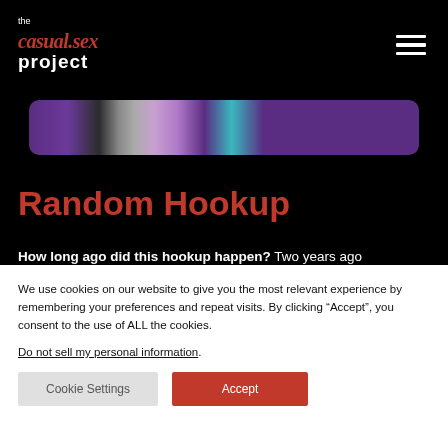the casual.sex project
[Figure (illustration): Horizontal banner image strip showing abstract colorful vertical bars in purple, gray, and teal tones on a dark background, with rounded corners.]
Random Hookup
How long ago did this hookup happen? Two years ago
What was your relationship status at the time? In a relationship (monogamous)
We use cookies on our website to give you the most relevant experience by remembering your preferences and repeat visits. By clicking “Accept”, you consent to the use of ALL the cookies.
Do not sell my personal information.
Cookie Settings
Accept